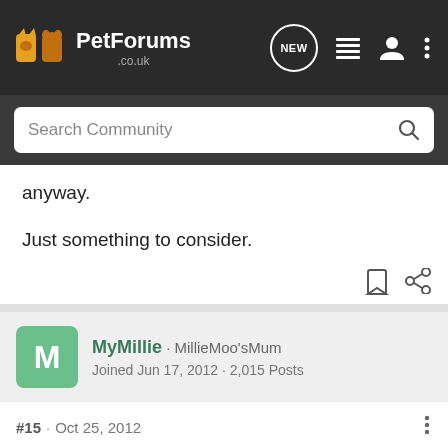PetForums.co.uk navigation bar with search
anyway.
Just something to consider.
MyMillie · MillieMoo'sMum
Joined Jun 17, 2012 · 2,015 Posts
#15 · Oct 25, 2012
McKenzie said:
It's worth remembering that many car harnesses are designed to restrain the dog in a crash so it doesn't become a missile, not to necessarily keep the dog safe. If they're not crash tested then you